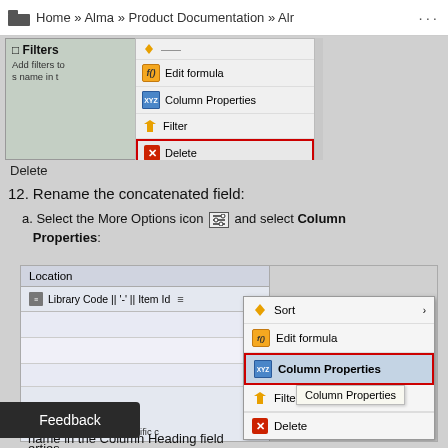Home » Alma » Product Documentation » Alr
[Figure (screenshot): Screenshot of a context menu with options: Edit formula, Column Properties, Filter, Delete (Delete is highlighted with a red border). Background shows Filters panel partially visible.]
Delete
12. Rename the concatenated field:
a. Select the More Options icon and select Column Properties:
[Figure (screenshot): Screenshot showing a Location column with Library Code || '-' || Item Id formula, and a context menu open with Sort, Edit formula, Column Properties (highlighted in red), Filter, Delete options. A tooltip shows 'Column Properties'.]
on Filter option for the specific c
erties
name in the Column Heading field